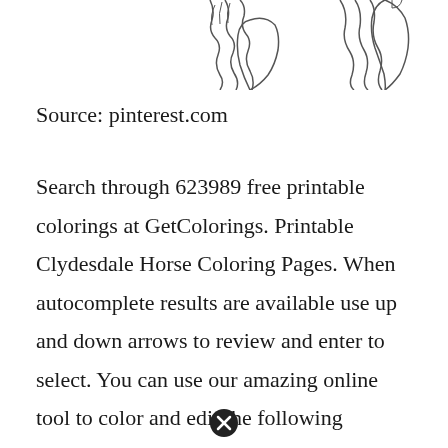[Figure (illustration): Partial line drawings of horse heads at the top of the page, cropped at the top edge. Two horse head sketches visible.]
Source: pinterest.com
Search through 623989 free printable colorings at GetColorings. Printable Clydesdale Horse Coloring Pages. When autocomplete results are available use up and down arrows to review and enter to select. You can use our amazing online tool to color and edit the following Clydesdale Horse Coloring Pages. Horse Head Front View Drawing Google Search Clydesdale
[Figure (other): Close/dismiss button icon (circled X) at the bottom center of the page]